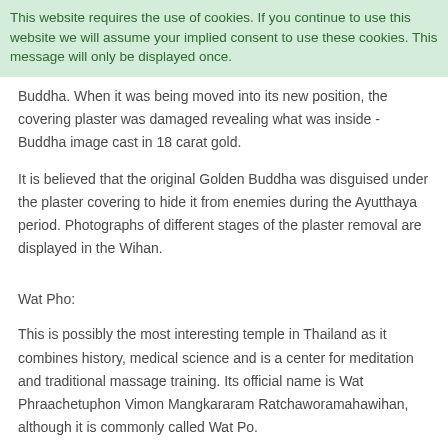This website requires the use of cookies. If you continue to use this website we will assume your implied consent to use these cookies. This message will only be displayed once.
Buddha. When it was being moved into its new position, the covering plaster was damaged revealing what was inside - Buddha image cast in 18 carat gold.
It is believed that the original Golden Buddha was disguised under the plaster covering to hide it from enemies during the Ayutthaya period. Photographs of different stages of the plaster removal are displayed in the Wihan.
Wat Pho:
This is possibly the most interesting temple in Thailand as it combines history, medical science and is a center for meditation and traditional massage training. Its official name is Wat Phraachetuphon Vimon Mangkararam Ratchaworamahawihan, although it is commonly called Wat Po.
Founded during the 16th century, Wat Pho is most famous for the golden